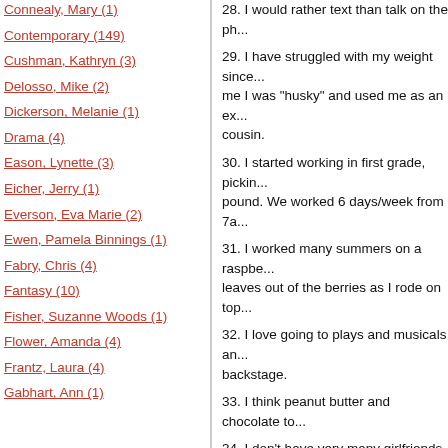Connealy, Mary (1)
Contemporary (149)
Cushman, Kathryn (3)
Delosso, Mike (2)
Dickerson, Melanie (1)
Drama (4)
Eason, Lynette (3)
Eicher, Jerry (1)
Everson, Eva Marie (2)
Ewen, Pamela Binnings (1)
Fabry, Chris (4)
Fantasy (10)
Fisher, Suzanne Woods (1)
Flower, Amanda (4)
Frantz, Laura (4)
Gabhart, Ann (1)
28. I would rather text than talk on the ph...
29. I have struggled with my weight since... me I was "husky" and used me as an ex... cousin.
30. I started working in first grade, pickin... pound. We worked 6 days/week from 7a...
31. I worked many summers on a raspbe... leaves out of the berries as I rode on top...
32. I love going to plays and musicals an... backstage.
33. I think peanut butter and chocolate to...
34. I don't have very many girlfriends, bu...
35. I have big teeth.
36. My husband hates clutter.
37. It's hard for a really crafty person not...
38. My Grandma Grace was amazing an... let me paint, watch soap operas, and ma...
39. I grew up by mountains and still mis...